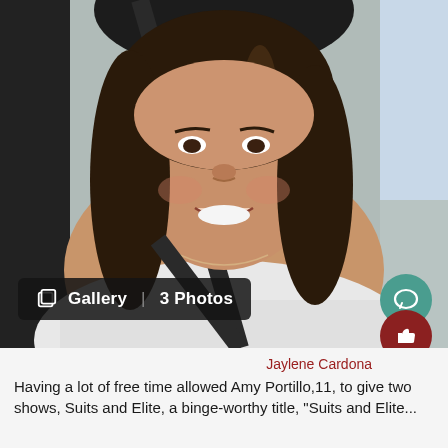[Figure (photo): A young woman smiling and taking a selfie inside a car, wearing a white off-shoulder top with a seatbelt across her. She has long dark hair and a delicate necklace.]
Gallery | 3 Photos
Jaylene Cardona
Having a lot of free time allowed Amy Portillo,11, to give two shows, Suits and Elite, a binge-worthy title, "Suits and Elite...